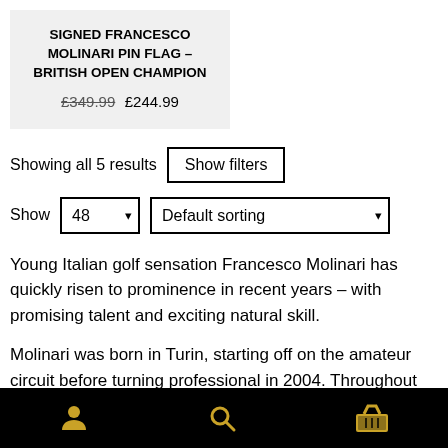SIGNED FRANCESCO MOLINARI PIN FLAG – BRITISH OPEN CHAMPION
£349.99 £244.99
Showing all 5 results
Show filters
Show 48 Default sorting
Young Italian golf sensation Francesco Molinari has quickly risen to prominence in recent years – with promising talent and exciting natural skill.
Molinari was born in Turin, starting off on the amateur circuit before turning professional in 2004. Throughout his professional career he has stayed just under the radar,
[user icon] [search icon] [basket icon]